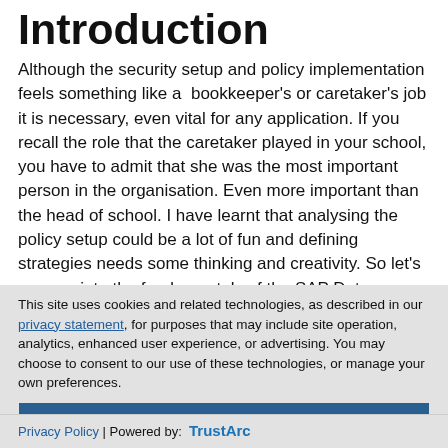Introduction
Although the security setup and policy implementation feels something like a  bookkeeper's or caretaker's job it is necessary, even vital for any application. If you recall the role that the caretaker played in your school, you have to admit that she was the most important person in the organisation. Even more important than the head of school. I have learnt that analysing the policy setup could be a lot of fun and defining strategies needs some thinking and creativity. So let's emerge into the fundamentals of the SAP Data Intelligence Policy Management
This site uses cookies and related technologies, as described in our privacy statement, for purposes that may include site operation, analytics, enhanced user experience, or advertising. You may choose to consent to our use of these technologies, or manage your own preferences.
Accept Cookies
More Information
Privacy Policy | Powered by: TrustArc